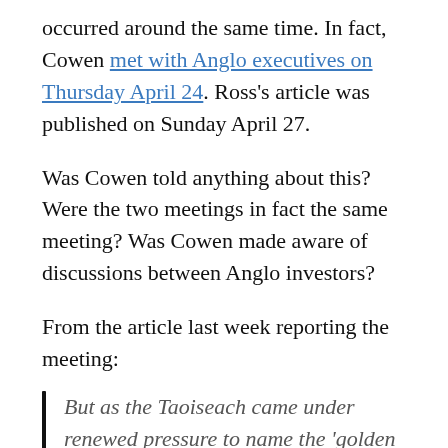occurred around the same time. In fact, Cowen met with Anglo executives on Thursday April 24. Ross's article was published on Sunday April 27.
Was Cowen told anything about this? Were the two meetings in fact the same meeting? Was Cowen made aware of discussions between Anglo investors?
From the article last week reporting the meeting:
But as the Taoiseach came under renewed pressure to name the 'golden circle' fresh details emerged of his cosy